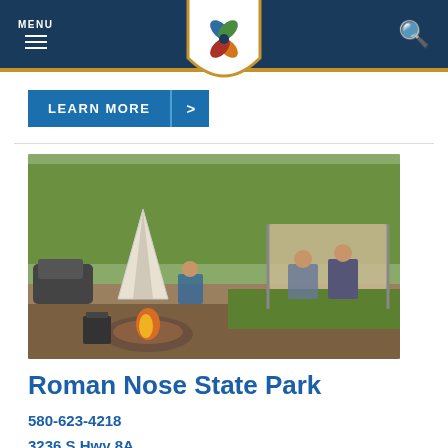MENU | [Logo] | [Search]
LEARN MORE >
[Figure (photo): People sitting around a campfire at Roman Nose State Park, with a white teepee and a canopy tent in the background, surrounded by green trees.]
Roman Nose State Park
580-623-4218
3236 S Hwy 8A
Watonga, OK 73773